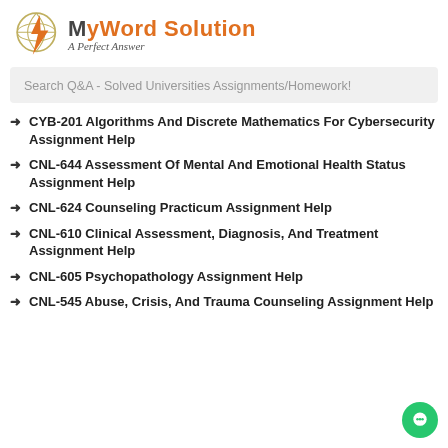[Figure (logo): MyWord Solution logo with lightning bolt graphic and tagline 'A Perfect Answer']
Search Q&A - Solved Universities Assignments/Homework!
CYB-201 Algorithms And Discrete Mathematics For Cybersecurity Assignment Help
CNL-644 Assessment Of Mental And Emotional Health Status Assignment Help
CNL-624 Counseling Practicum Assignment Help
CNL-610 Clinical Assessment, Diagnosis, And Treatment Assignment Help
CNL-605 Psychopathology Assignment Help
CNL-545 Abuse, Crisis, And Trauma Counseling Assignment Help